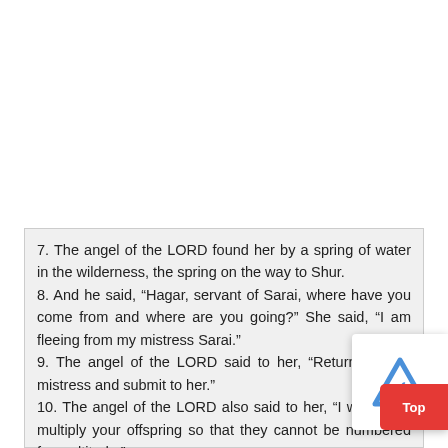7. The angel of the LORD found her by a spring of water in the wilderness, the spring on the way to Shur. 8. And he said, “Hagar, servant of Sarai, where have you come from and where are you going?” She said, “I am fleeing from my mistress Sarai.” 9. The angel of the LORD said to her, “Return to your mistress and submit to her.” 10. The angel of the LORD also said to her, “I will surely multiply your offspring so that they cannot be numbered for multitude.” 11. And the angel of the LORD said to her, “Behold, you are pregnant and shall bear a son. You shall call his name Ishmael.